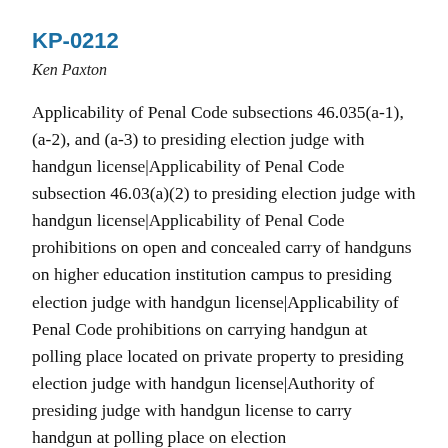KP-0212
Ken Paxton
Applicability of Penal Code subsections 46.035(a-1), (a-2), and (a-3) to presiding election judge with handgun license|Applicability of Penal Code subsection 46.03(a)(2) to presiding election judge with handgun license|Applicability of Penal Code prohibitions on open and concealed carry of handguns on higher education institution campus to presiding election judge with handgun license|Applicability of Penal Code prohibitions on carrying handgun at polling place located on private property to presiding election judge with handgun license|Authority of presiding judge with handgun license to carry handgun at polling place on election